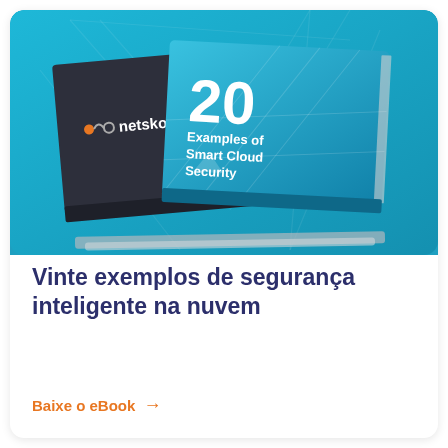[Figure (illustration): Netskope eBook cover – two books stacked on a blue background. The dark book has the Netskope logo. The blue book shows '20 Examples of Smart Cloud Security'. Top-right corner has 'EBOOK' label in white bold.]
Vinte exemplos de segurança inteligente na nuvem
Baixe o eBook →